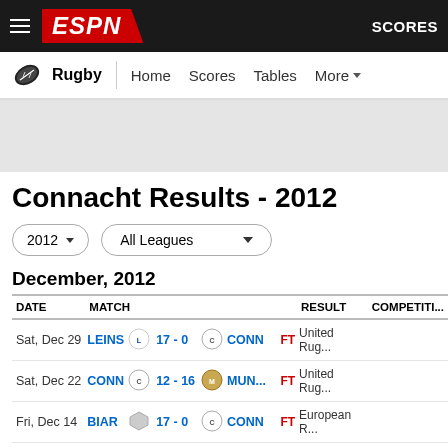ESPN Rugby - SCORES
Rugby  Home  Scores  Tables  More
[Figure (screenshot): Gray advertisement banner area]
Connacht Results - 2012
2012 ▾   All Leagues ▾
December, 2012
| DATE | MATCH |  |  |  |  |  | RESULT | COMPETITION |
| --- | --- | --- | --- | --- | --- | --- | --- | --- |
| Sat, Dec 29 | LEINS | [Leinster logo] | 17 - 0 | [Conn logo] | CONN | FT | United Rug... |
| Sat, Dec 22 | CONN | [Conn logo] | 12 - 16 | [Munster logo] | MUN... | FT | United Rug... |
| Fri, Dec 14 | BIAR | [shield logo] | 17 - 0 | [Conn logo] | CONN | FT | European R... |
| Fri, Dec 7 | CONN | [Conn logo] | 22 - 14 | [shield logo] | BIAR | FT | European R... |
| Sat, Dec 1 | CONN | [Conn logo] | 23 - 24 | [red logo] | EDINB... | FT | United Rug... |